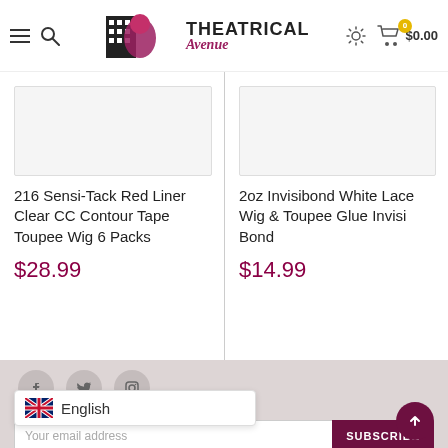Theatrical Avenue — navigation header with hamburger menu, search icon, logo, settings icon, cart ($0.00)
216 Sensi-Tack Red Liner Clear CC Contour Tape Toupee Wig 6 Packs
$28.99
2oz Invisibond White Lace Wig & Toupee Glue Invisi Bond
$14.99
Social icons (Facebook, Twitter, Instagram), Newsletter section, Language selector: English, Email address field, SUBSCRIBE button